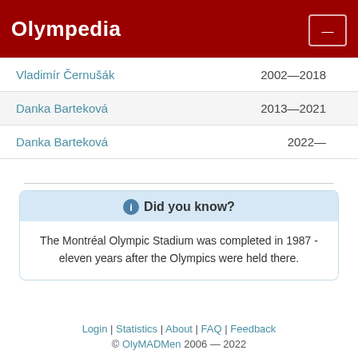Olympedia
| Name | Years |
| --- | --- |
| Vladimír Černušák | 2002—2018 |
| Danka Barteková | 2013—2021 |
| Danka Barteková | 2022— |
ℹ Did you know?
The Montréal Olympic Stadium was completed in 1987 - eleven years after the Olympics were held there.
Login | Statistics | About | FAQ | Feedback
© OlyMADMen 2006 — 2022